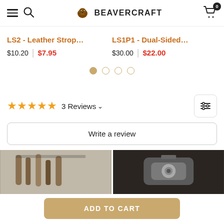BeaverCraft — menu, search, cart (0)
LS2 - Leather Strop... $10.20 | $7.95
LS1P1 - Dual-Sided... $30.00 | $22.00
[Figure (other): Carousel navigation dots — 4 dots, first dot active (filled orange/tan), others empty]
★★★★★ 3 Reviews ∨
Write a review
[Figure (photo): Two review photos side by side: left shows woodcarving tools with dark handles and light-colored barrel, right shows a metal lathe chuck or tool in a dark workshop setting]
ADD TO CART